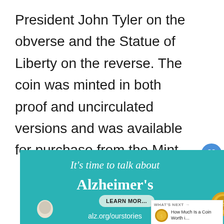President John Tyler on the obverse and the Statue of Liberty on the reverse. The coin was minted in both proof and uncirculated versions and was available for purchase from the Mint.
[Figure (other): Advertisement banner for Alzheimer's awareness with teal background, text reading 'It's time to talk about Alzheimer's', a Learn More button, and alz.org/ourstories URL. Includes a decorative coin image and partial illustration.]